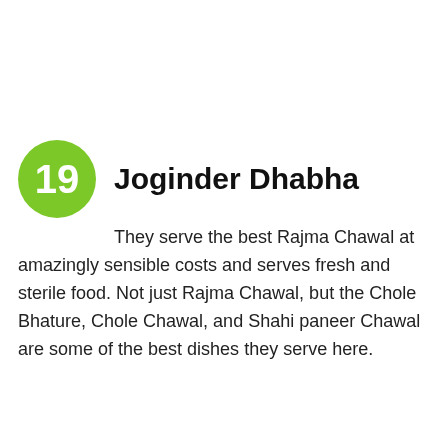19 Joginder Dhabha
They serve the best Rajma Chawal at amazingly sensible costs and serves fresh and sterile food. Not just Rajma Chawal, but the Chole Bhature, Chole Chawal, and Shahi paneer Chawal are some of the best dishes they serve here.